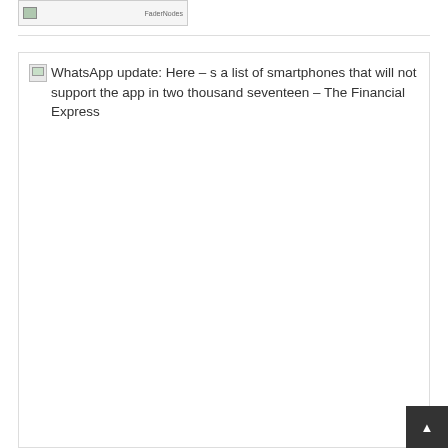[Figure (screenshot): Partial screenshot of a web page showing a thumbnail image placeholder at the top left]
[Figure (screenshot): A broken/loading image placeholder followed by text: 'WhatsApp update: Here – s a list of smartphones that will not support the app in two thousand seventeen – The Financial Express']